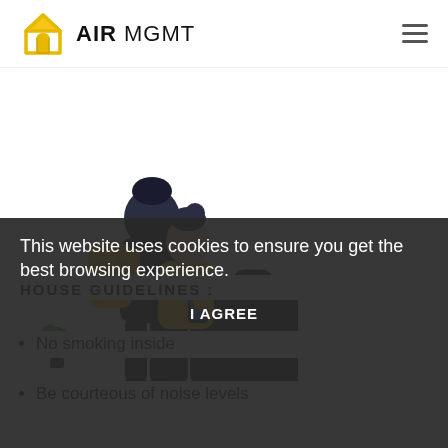AIR MGMT
[Figure (illustration): Two travelers, one with a yellow backpack and one in a yellow jacket looking at a phone, standing next to a dark suitcase with a small green plant nearby.]
HOUSE GUIDELINES :
No smoking inside
Be courteous of noise levels
This website uses cookies to ensure you get the best browsing experience.
I AGREE